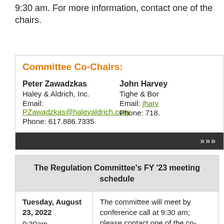9:30 am. For more information, contact one of the chairs.
Committee Co-Chairs:
Peter Zawadzkas
Haley & Aldrich, Inc.
Email: PZawadzkas@haleyaldrich.com
Phone: 617.886.7335

John Harvey
Tighe & Bon...
Email: jharv...
Phone: 718...
| The Regulation Committee's FY '23 meeting schedule |  |
| --- | --- |
| Tuesday, August 23, 2022
9:30am | The committee will meet by conference call at 9:30 am; please contact one of the co-chairs if you wish to be included. |